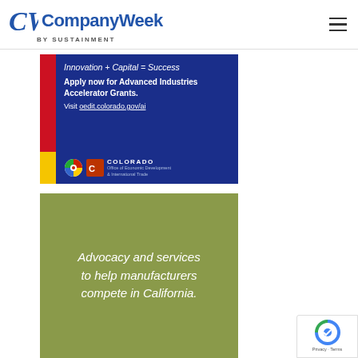CompanyWeek by Sustainment
[Figure (infographic): Colorado OEDIT Advanced Industries Accelerator Grants advertisement. Blue background with red and yellow side stripe. Text: 'Innovation + Capital = Success', 'Apply now for Advanced Industries Accelerator Grants.', 'Visit oedit.colorado.gov/ai', Colorado Office of Economic Development and International Trade logo.]
[Figure (infographic): Green/olive background advertisement with italic white text: 'Advocacy and services to help manufacturers compete in California.']